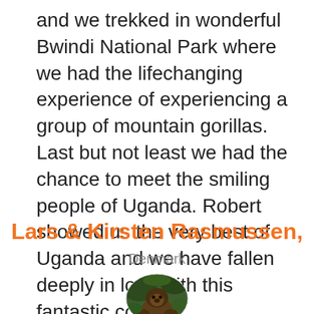and we trekked in wonderful Bwindi National Park where we had the lifechanging experience of experiencing a group of mountain gorillas. Last but not least we had the chance to meet the smiling people of Uganda. Robert showed us the very best of Uganda and we have fallen deeply in love with this fantastic country”
Lars & Kirsten Rasmussen,
Denmark
[Figure (photo): Circular cropped photo of a gorilla in natural habitat]